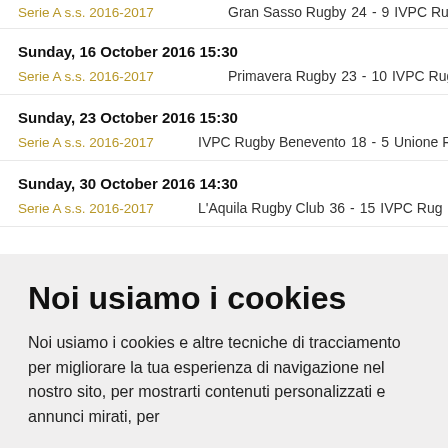Serie A s.s. 2016-2017   Gran Sasso Rugby  24  -  9  IVPC Rug...
Sunday, 16 October 2016 15:30
Serie A s.s. 2016-2017   Primavera Rugby  23  -  10  IVPC Rug...
Sunday, 23 October 2016 15:30
Serie A s.s. 2016-2017   IVPC Rugby Benevento  18  -  5  Unione R...
Sunday, 30 October 2016 14:30
Serie A s.s. 2016-2017   L'Aquila Rugby Club  36  -  15  IVPC Rug...
Noi usiamo i cookies
Noi usiamo i cookies e altre tecniche di tracciamento per migliorare la tua esperienza di navigazione nel nostro sito, per mostrarti contenuti personalizzati e annunci mirati, per